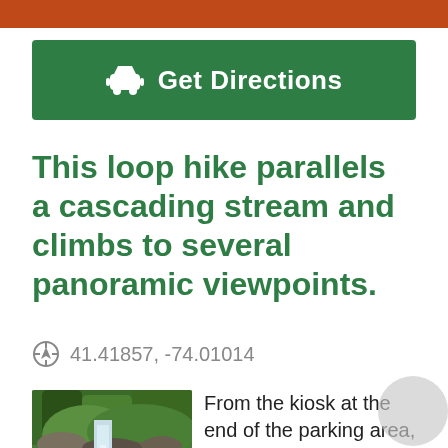[Figure (other): Orange decorative bar at top of page]
[Figure (other): Green Get Directions button with car icon]
This loop hike parallels a cascading stream and climbs to several panoramic viewpoints.
41.41857, -74.01014
[Figure (photo): Photo of a forest stream cascading over rocks with green foliage]
From the kiosk at the end of the parking area, bear